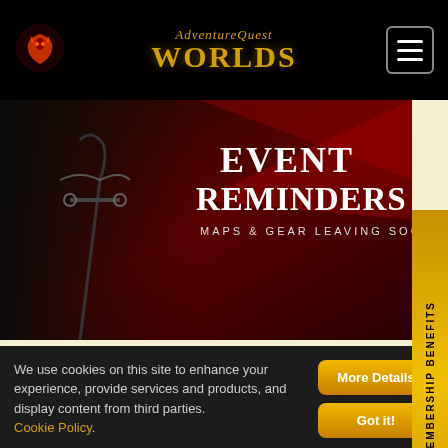AdventureQuest Worlds navigation bar
[Figure (illustration): Event Reminders banner image showing a dark fantasy character in chains with red background and text: EVENT REMINDERS - Maps & Gear Leaving Soon]
July 31:
Remaining quantities of our Fire & Ice LQS Sets leave*
Last chance to log in to unlock your 6 free HeroPoints
We use cookies on this site to enhance your experience, provide services and products, and display content from third parties. Cookie Policy.